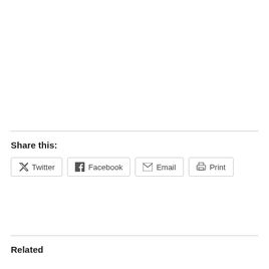Share this:
Twitter  Facebook  Email  Print
Related